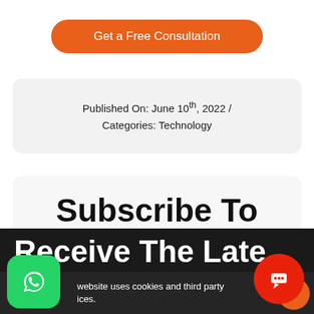Get a Free Consultation
Published On: June 10th, 2022 / Categories: Technology
Subscribe To
Receive The Late
website uses cookies and third party ices.